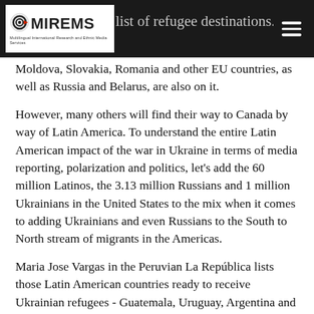MIREMS — Multilingual International Research and Ethnic Media Services. Partial visible text: list of refugee destinations. Hungary,
Moldova, Slovakia, Romania and other EU countries, as well as Russia and Belarus, are also on it.
However, many others will find their way to Canada by way of Latin America. To understand the entire Latin American impact of the war in Ukraine in terms of media reporting, polarization and politics, let's add the 60 million Latinos, the 3.13 million Russians and 1 million Ukrainians in the United States to the mix when it comes to adding Ukrainians and even Russians to the South to North stream of migrants in the Americas.
Maria Jose Vargas in the Peruvian La República lists those Latin American countries ready to receive Ukrainian refugees - Guatemala, Uruguay, Argentina and Chile - and she notes the total possible volume of refugees could reach 4 million. The Peruvian El Comercio and the Mexican Milenio report that